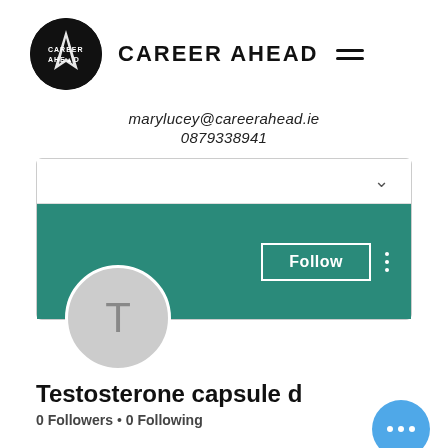[Figure (logo): Career Ahead logo: black circle with white mountain/arrow icon and text CAREER AHEAD beside it, with hamburger menu icon]
marylucey@careerahead.ie
0879338941
[Figure (screenshot): Social media profile card with teal banner, Follow button, avatar circle with T, showing 'Testosterone capsule d...' title, '0 Followers • 0 Following', and a blue FAB button with three dots]